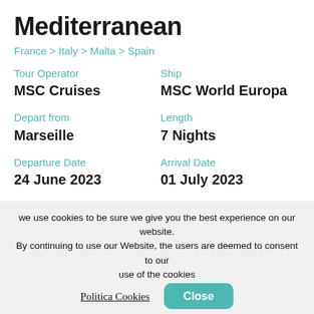Mediterranean
France > Italy > Malta > Spain
Tour Operator
MSC Cruises

Ship
MSC World Europa

Depart from
Marseille

Length
7 Nights

Departure Date
24 June 2023

Arrival Date
01 July 2023
Details
we use cookies to be sure we give you the best experience on our website. By continuing to use our Website, the users are deemed to consent to our use of the cookies
Politica Cookies
Close